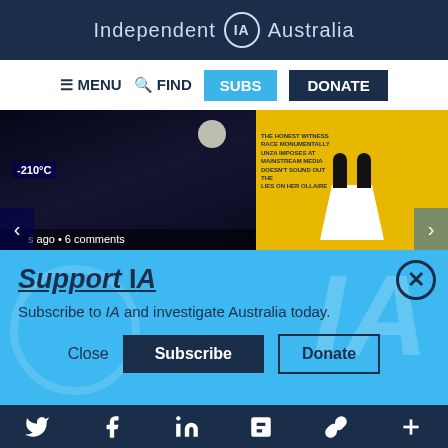Independent IA Australia
MENU   FIND   SUBS   DONATE
[Figure (screenshot): Two article thumbnail images side by side: left shows a night scene with -210°C temperature overlay and caption 's ago • 6 comments', right shows a yellow/gold graphic with silhouetted figures on a white triangle shape]
Support IA
Subscribe to IA and investigate Australia today.
Close   Subscribe   Donate
Social media icons: Twitter, Facebook, LinkedIn, Flipboard, Link, Plus